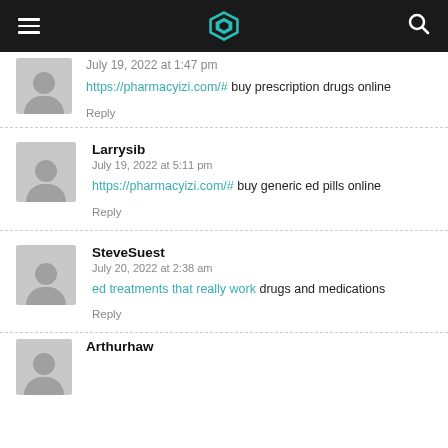Navigation header with hamburger menu, logo, and search icon
https://pharmacyizi.com/# buy prescription drugs online
Reply
Larrysib
July 19, 2022 at 5:11 pm
https://pharmacyizi.com/# buy generic ed pills online
Reply
SteveSuest
July 20, 2022 at 2:38 am
ed treatments that really work drugs and medications
Reply
Arthurhaw